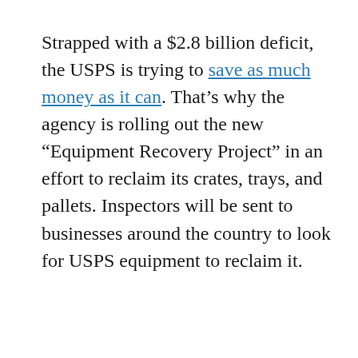Strapped with a $2.8 billion deficit, the USPS is trying to save as much money as it can. That's why the agency is rolling out the new “Equipment Recovery Project” in an effort to reclaim its crates, trays, and pallets. Inspectors will be sent to businesses around the country to look for USPS equipment to reclaim it.